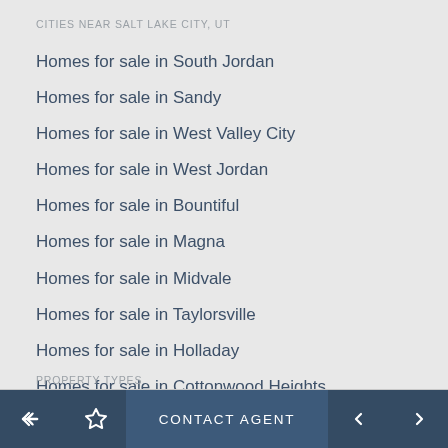CITIES NEAR SALT LAKE CITY, UT
Homes for sale in South Jordan
Homes for sale in Sandy
Homes for sale in West Valley City
Homes for sale in West Jordan
Homes for sale in Bountiful
Homes for sale in Magna
Homes for sale in Midvale
Homes for sale in Taylorsville
Homes for sale in Holladay
Homes for sale in Cottonwood Heights
PROPERTY TYPES
Back | Favorite | CONTACT AGENT | Previous | Next